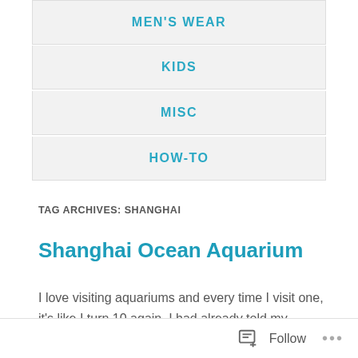MEN'S WEAR
KIDS
MISC
HOW-TO
TAG ARCHIVES: SHANGHAI
Shanghai Ocean Aquarium
I love visiting aquariums and every time I visit one, it's like I turn 10 again. I had already told my Chinese colleagues about this before coming to Shanghai so when they took us out during the week, the Shanghai Ocean Aquarium
Follow